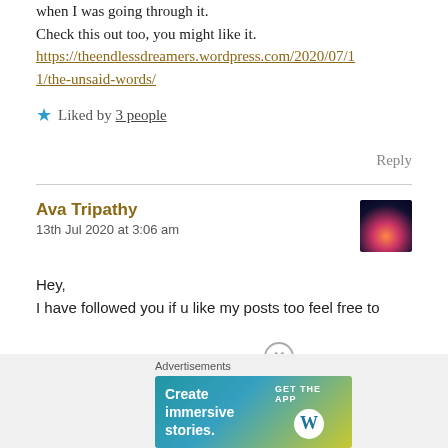when I was going through it.
Check this out too, you might like it.
https://theendlessdreamers.wordpress.com/2020/07/11/the-unsaid-words/
★ Liked by 3 people
Reply
Ava Tripathy
13th Jul 2020 at 3:06 am
Hey,
I have followed you if u like my posts too feel free to
[Figure (other): Advertisements banner: Create immersive stories. GET THE APP WordPress logo]
Advertisements